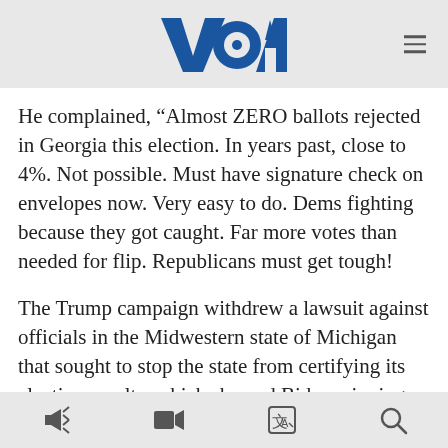VOA
He complained, “Almost ZERO ballots rejected in Georgia this election. In years past, close to 4%. Not possible. Must have signature check on envelopes now. Very easy to do. Dems fighting because they got caught. Far more votes than needed for flip. Republicans must get tough!
The Trump campaign withdrew a lawsuit against officials in the Midwestern state of Michigan that sought to stop the state from certifying its election results, which showed Biden winning by 155,000 votes. The lawsuit dealt with minor issues that would not have overturned the statewide result and did not provide proof of fraud.
audio | video | translate | search